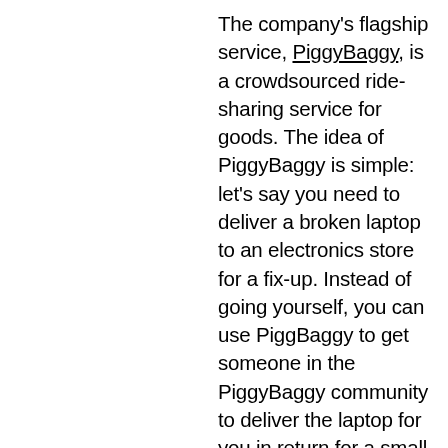The company's flagship service, PiggyBaggy, is a crowdsourced ride-sharing service for goods. The idea of PiggyBaggy is simple: let's say you need to deliver a broken laptop to an electronics store for a fix-up. Instead of going yourself, you can use PiggBaggy to get someone in the PiggyBaggy community to deliver the laptop for you in return for a small payment. For example, someone might be commuting past your house and the electronics store and could, therefore, take your laptop on her way to work, giving you more time to do other things.